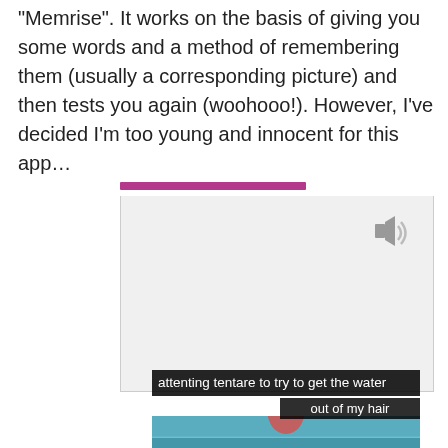“Memrise”. It works on the basis of giving you some words and a method of remembering them (usually a corresponding picture) and then tests you again (woohooo!). However, I’ve decided I’m too young and innocent for this app…
[Figure (screenshot): Screenshot of the Memrise app showing the Italian word 'tentare' with translation 'to try', with a pink/purple progress bar at top and an audio icon. Below is a meme image with text 'attenting tentare to try to get the water out of my hair' overlaid on a photo of a woman in a swimsuit.]